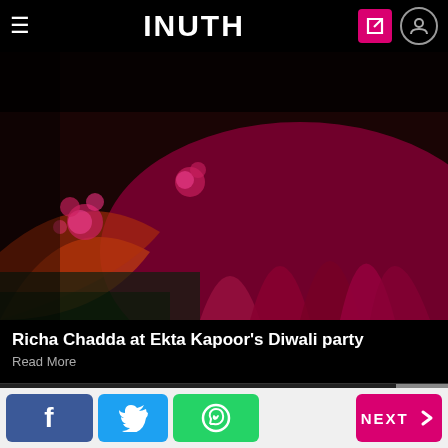INUTH
[Figure (photo): Close-up of a person's outfit at Ekta Kapoor's Diwali party — a flowing red/magenta embroidered ethnic lehenga on a dark green background]
Richa Chadda at Ekta Kapoor's Diwali party
Read More
ADVERTISEMENT